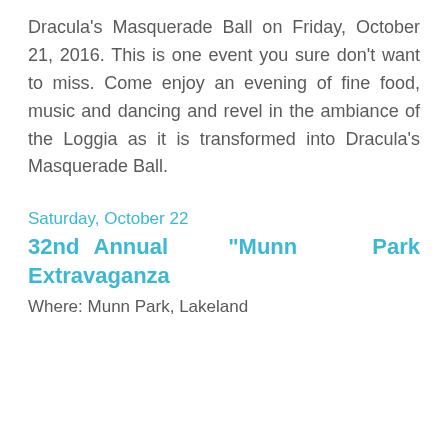Dracula's Masquerade Ball on Friday, October 21, 2016. This is one event you sure don't want to miss. Come enjoy an evening of fine food, music and dancing and revel in the ambiance of the Loggia as it is transformed into Dracula's Masquerade Ball.
Saturday, October 22
32nd Annual “Munn Park Extravaganza
Where: Munn Park, Lakeland